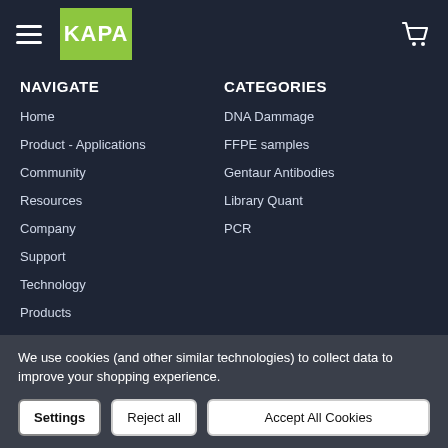KAPA — hamburger menu and cart icon header
NAVIGATE
Home
Product - Applications
Community
Resources
Company
Support
Technology
Products
CATEGORIES
DNA Dammage
FFPE samples
Gentaur Antibodies
Library Quant
PCR
We use cookies (and other similar technologies) to collect data to improve your shopping experience.
Settings | Reject all | Accept All Cookies